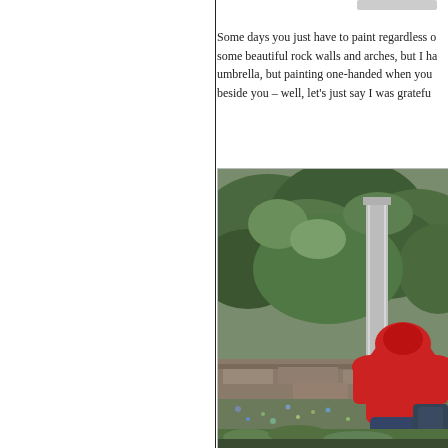Some days you just have to paint regardless of... some beautiful rock walls and arches, but I h... umbrella, but painting one-handed when you... beside you – well, let’s just say I was gratefu...
[Figure (photo): A person in a red hoodie sitting on a ledge or bench outdoors, surrounded by lush green vegetation and rock walls, appearing to be painting or working on something. The scene is overcast and wet, suggesting rainy conditions.]